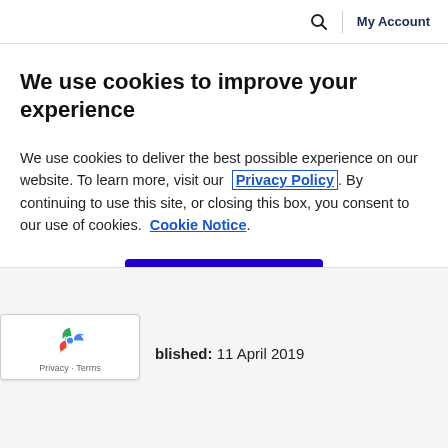🔍 | My Account
We use cookies to improve your experience
We use cookies to deliver the best possible experience on our website. To learn more, visit our Privacy Policy. By continuing to use this site, or closing this box, you consent to our use of cookies. Cookie Notice.
Accept
Published: 11 April 2019